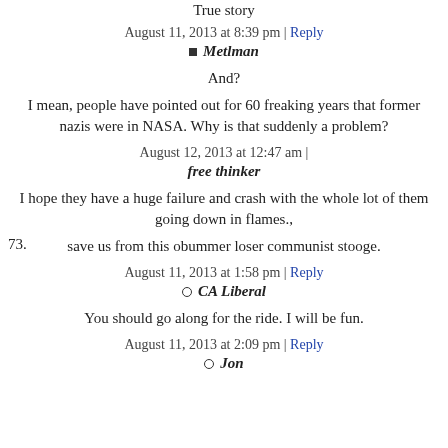True story
August 11, 2013 at 8:39 pm | Reply
Metlman
And?
I mean, people have pointed out for 60 freaking years that former nazis were in NASA. Why is that suddenly a problem?
August 12, 2013 at 12:47 am |
free thinker
I hope they have a huge failure and crash with the whole lot of them going down in flames.,
save us from this obummer loser communist stooge.
August 11, 2013 at 1:58 pm | Reply
CA Liberal
You should go along for the ride. I will be fun.
August 11, 2013 at 2:09 pm | Reply
Jon